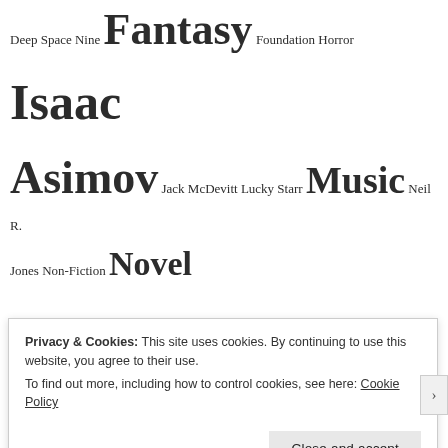Deep Space Nine Fantasy Foundation Horror Isaac Asimov Jack McDevitt Lucky Starr Music Neil R. Jones Non-Fiction Novel Recommended Reprint Anthology Robert Silverberg Robots Science Fiction Series Short Fiction Star Trek TV
Privacy & Cookies: This site uses cookies. By continuing to use this website, you agree to their use. To find out more, including how to control cookies, see here: Cookie Policy
Close and accept